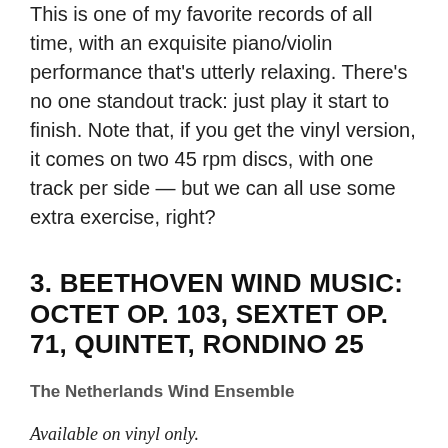This is one of my favorite records of all time, with an exquisite piano/violin performance that's utterly relaxing. There's no one standout track: just play it start to finish. Note that, if you get the vinyl version, it comes on two 45 rpm discs, with one track per side — but we can all use some extra exercise, right?
3. BEETHOVEN WIND MUSIC: OCTET OP. 103, SEXTET OP. 71, QUINTET, RONDINO 25
The Netherlands Wind Ensemble
Available on vinyl only.
Beethoven is not exactly known for his wind